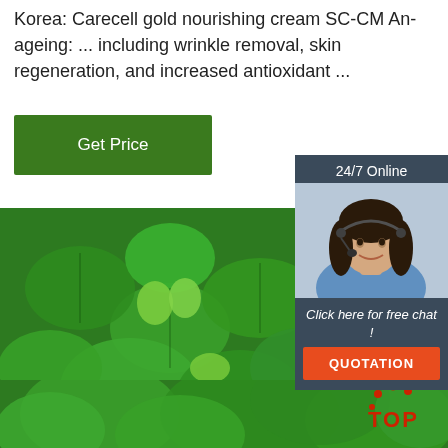Korea: Carecell gold nourishing cream SC-CM An-ageing: ... including wrinkle removal, skin regeneration, and increased antioxidant ...
[Figure (other): Green button labeled 'Get Price' on dark green background]
[Figure (other): 24/7 Online chat widget with photo of smiling woman with headset, 'Click here for free chat!' text, and orange QUOTATION button]
[Figure (photo): Close-up photo of green mint/herb leaves filling most of the lower portion of the page]
[Figure (logo): TOP logo with red dots in lower right corner]